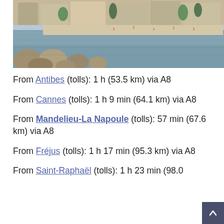[Figure (photo): Coastal town beach scene with rocks in foreground, calm water, sandy beach with people, and buildings along the waterfront with palm trees.]
From Antibes (tolls): 1 h (53.5 km) via A8
From Cannes (tolls): 1 h 9 min (64.1 km) via A8
From Mandelieu-La Napoule (tolls): 57 min (67.6 km) via A8
From Fréjus (tolls): 1 h 17 min (95.3 km) via A8
From Saint-Raphaël (tolls): 1 h 23 min (98.0